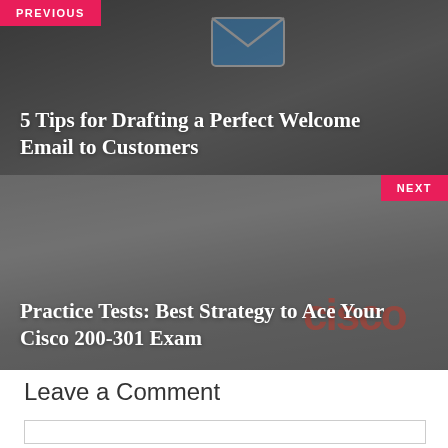[Figure (photo): Previous post thumbnail: laptop with email icon overlay, dark overlay, showing navigation to previous article about Welcome Email]
PREVIOUS
5 Tips for Drafting a Perfect Welcome Email to Customers
[Figure (photo): Next post thumbnail: Cisco logo/branding image with dark overlay, showing navigation to next article about Cisco exam]
NEXT
Practice Tests: Best Strategy to Ace Your Cisco 200-301 Exam
Leave a Comment